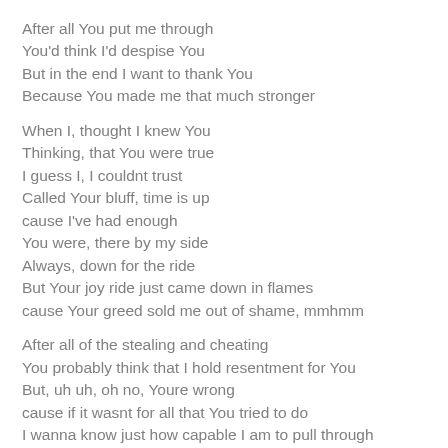After all You put me through
You'd think I'd despise You
But in the end I want to thank You
Because You made me that much stronger
When I, thought I knew You
Thinking, that You were true
I guess I, I couldnt trust
Called Your bluff, time is up
cause I've had enough
You were, there by my side
Always, down for the ride
But Your joy ride just came down in flames
cause Your greed sold me out of shame, mmhmm
After all of the stealing and cheating
You probably think that I hold resentment for You
But, uh uh, oh no, Youre wrong
cause if it wasnt for all that You tried to do
I wanna know just how capable I am to pull through
So I wanna say thank You